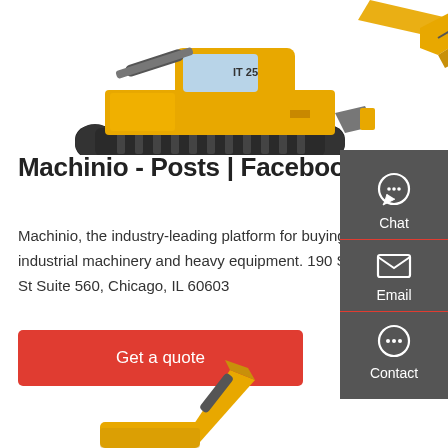[Figure (photo): Yellow mini excavator (labeled IT 25) with black tracks, shown from a side angle against a white background. Top of page.]
Machinio - Posts | Facebook
Machinio, the industry-leading platform for buying used industrial machinery and heavy equipment. 190 S La Salle St Suite 560, Chicago, IL 60603
[Figure (infographic): Dark gray sidebar with Chat, Email, and Contact icons and labels]
Get a quote
[Figure (photo): Partial view of a yellow construction excavator arm/bucket at the bottom of the page.]